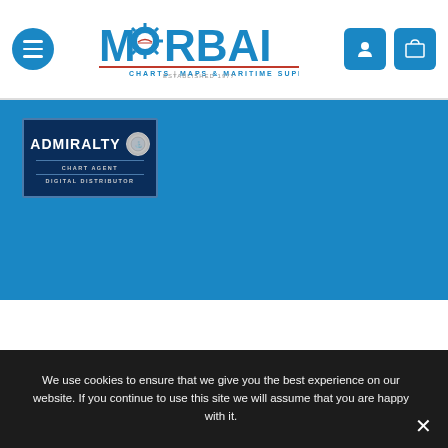[Figure (logo): Morbai Charts Maps & Maritime Supplies logo with navigation wheel icon and blue text, with hamburger menu button and user/cart icon buttons in header]
[Figure (logo): Admiralty Chart Agent Digital Distributor badge — dark navy rectangle with ADMIRALTY text and seal logo, CHART AGENT and DIGITAL DISTRIBUTOR subtext]
We use cookies to ensure that we give you the best experience on our website. If you continue to use this site we will assume that you are happy with it.